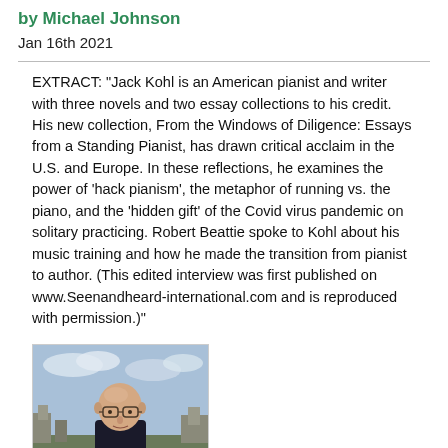by Michael Johnson
Jan 16th 2021
EXTRACT: "Jack Kohl is an American pianist and writer with three novels and two essay collections to his credit. His new collection, From the Windows of Diligence: Essays from a Standing Pianist, has drawn critical acclaim in the U.S. and Europe. In these reflections, he examines the power of 'hack pianism', the metaphor of running vs. the piano, and the 'hidden gift' of the Covid virus pandemic on solitary practicing. Robert Beattie spoke to Kohl about his music training and how he made the transition from pianist to author. (This edited interview was first published on www.Seenandheard-international.com and is reproduced with permission.)"
[Figure (photo): Photograph of a bald man with glasses wearing a dark sweater, outdoors with stone ruins and cloudy sky in background]